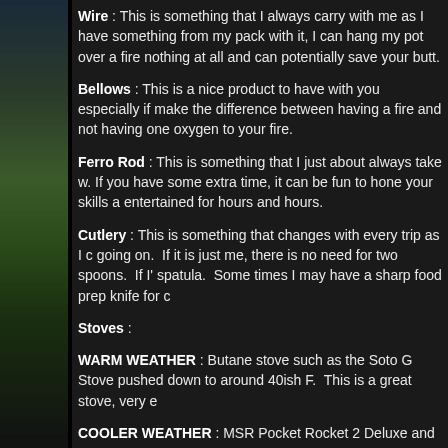Wire : This is something that I always carry with me as I have something from my pack with it, I can hang my pot over a fire nothing at all and can potentially save your butt.
Bellows : This is a nice product to have with you especially if make the difference between having a fire and not having one oxygen to your fire.
Ferro Rod : This is something that I just about always take w. If you have some extra time, it can be fun to hone your skills a entertained for hours and hours.
Cutlery : This is something that changes with every trip as I c going on. If it is just me, there is no need for two spoons. If I' spatula. Some times I may have a sharp food prep knife for c
Stoves :
WARM WEATHER : Butane stove such as the Soto G Stove pushed down to around 40ish F. This is a great stove, very e
COOLER WEATHER : MSR Pocket Rocket 2 Deluxe and a s